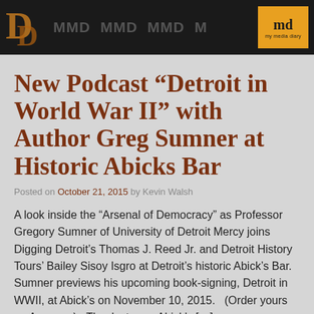MMD MMD MMD my media diary
New Podcast “Detroit in World War II” with Author Greg Sumner at Historic Abicks Bar
Posted on October 21, 2015 by Kevin Walsh
A look inside the “Arsenal of Democracy” as Professor Gregory Sumner of University of Detroit Mercy joins Digging Detroit’s Thomas J. Reed Jr. and Detroit History Tours’ Bailey Sisoy Isgro at Detroit’s historic Abick’s Bar.  Sumner previews his upcoming book-signing, Detroit in WWII, at Abick’s on November 10, 2015.  (Order yours on Amazon.)  Thanks to our Abick’s […]